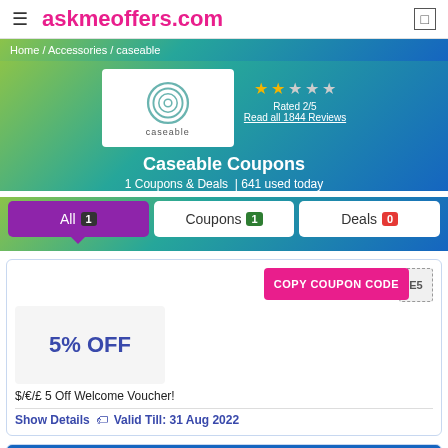askmeoffers.com
Home / Accessories / caseable
[Figure (logo): Caseable brand logo — teal concentric circles forming a C shape, with 'caseable' text below, on white background]
Rated 2/5
Read all 1844 Reviews
Caseable Coupons
1 Coupons & Deals  | 641 used today
All 1 | Coupons 1 | Deals 0
COPY COUPON CODE
5% OFF
$/€/£ 5 Off Welcome Voucher!
Show Details  🏷  Valid Till: 31 Aug 2022
Editorial Notes On Caseable for August 2022